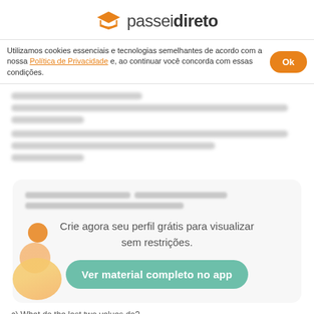passeidireto
Utilizamos cookies essenciais e tecnologias semelhantes de acordo com a nossa Política de Privacidade e, ao continuar você concorda com essas condições.
[Figure (screenshot): Blurred/redacted document content with several lines of text obscured]
Crie agora seu perfil grátis para visualizar sem restrições.
Ver material completo no app
c) What do the last two values do?